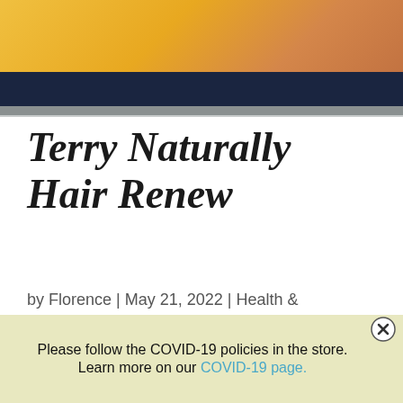[Figure (photo): Photo banner at top showing yellow and warm-toned background suggesting a product or lifestyle image]
Terry Naturally Hair Renew
by Florence | May 21, 2022 | Health & Beauty, New, Supplements | 0 comments
Unlike shampoos and conditioners,
Please follow the COVID-19 policies in the store. Learn more on our COVID-19 page.